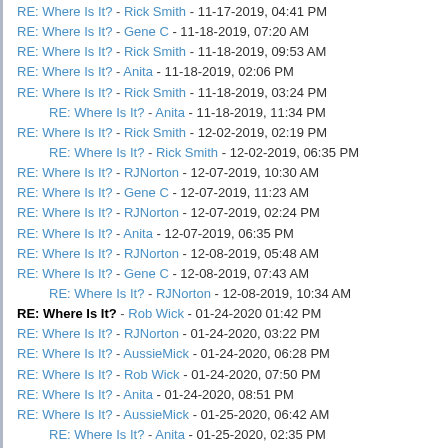RE: Where Is It? - Rick Smith - 11-17-2019, 04:41 PM
RE: Where Is It? - Gene C - 11-18-2019, 07:20 AM
RE: Where Is It? - Rick Smith - 11-18-2019, 09:53 AM
RE: Where Is It? - Anita - 11-18-2019, 02:06 PM
RE: Where Is It? - Rick Smith - 11-18-2019, 03:24 PM
RE: Where Is It? - Anita - 11-18-2019, 11:34 PM (indented)
RE: Where Is It? - Rick Smith - 12-02-2019, 02:19 PM
RE: Where Is It? - Rick Smith - 12-02-2019, 06:35 PM (indented)
RE: Where Is It? - RJNorton - 12-07-2019, 10:30 AM
RE: Where Is It? - Gene C - 12-07-2019, 11:23 AM
RE: Where Is It? - RJNorton - 12-07-2019, 02:24 PM
RE: Where Is It? - Anita - 12-07-2019, 06:35 PM
RE: Where Is It? - RJNorton - 12-08-2019, 05:48 AM
RE: Where Is It? - Gene C - 12-08-2019, 07:43 AM
RE: Where Is It? - RJNorton - 12-08-2019, 10:34 AM (indented)
RE: Where Is It? - Rob Wick - 01-24-2020 01:42 PM (bold/current)
RE: Where Is It? - RJNorton - 01-24-2020, 03:22 PM
RE: Where Is It? - AussieMick - 01-24-2020, 06:28 PM
RE: Where Is It? - Rob Wick - 01-24-2020, 07:50 PM
RE: Where Is It? - Anita - 01-24-2020, 08:51 PM
RE: Where Is It? - AussieMick - 01-25-2020, 06:42 AM
RE: Where Is It? - Anita - 01-25-2020, 02:35 PM (indented)
RE: Where Is It? - RJNorton - 04-25-2020, 03:41 PM
RE: Where Is It? - J. Beckert - 04-25-2020, 11:57 PM
RE: Where Is It? - RJNorton - 04-26-2020, 05:08 AM